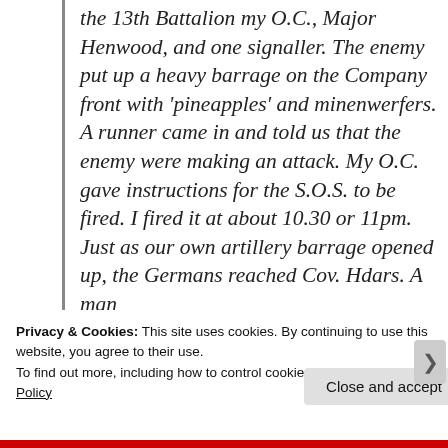the 13th Battalion my O.C., Major Henwood, and one signaller. The enemy put up a heavy barrage on the Company front with 'pineapples' and minenwerfers. A runner came in and told us that the enemy were making an attack. My O.C. gave instructions for the S.O.S. to be fired. I fired it at about 10.30 or 11pm. Just as our own artillery barrage opened up, the Germans reached Cov. Hdars. A man
Privacy & Cookies: This site uses cookies. By continuing to use this website, you agree to their use.
To find out more, including how to control cookies, see here: Cookie Policy